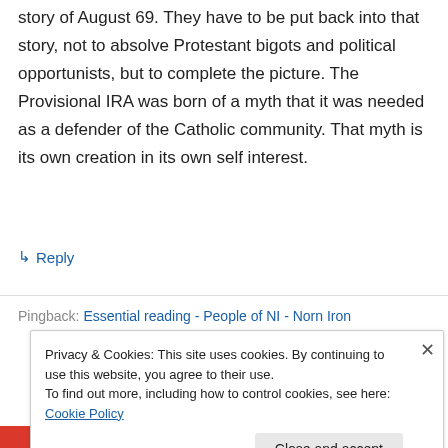story of August 69. They have to be put back into that story, not to absolve Protestant bigots and political opportunists, but to complete the picture. The Provisional IRA was born of a myth that it was needed as a defender of the Catholic community. That myth is its own creation in its own self interest.
↳ Reply
Pingback: Essential reading - People of NI - Norn Iron
Privacy & Cookies: This site uses cookies. By continuing to use this website, you agree to their use.
To find out more, including how to control cookies, see here: Cookie Policy
Close and accept